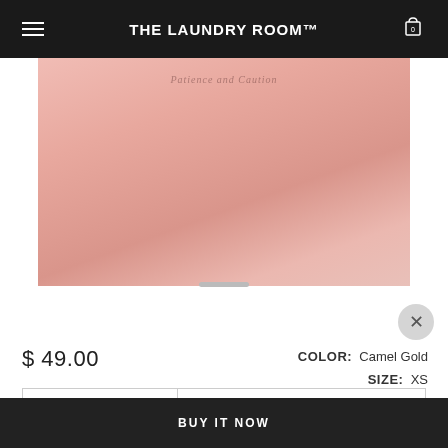THE LAUNDRY ROOM™
[Figure (photo): Pink/blush colored t-shirt product photo, partially visible with cursive text on chest area]
$ 49.00
COLOR: Camel Gold  SIZE: XS
− 1 +   ADD TO CART
BUY IT NOW